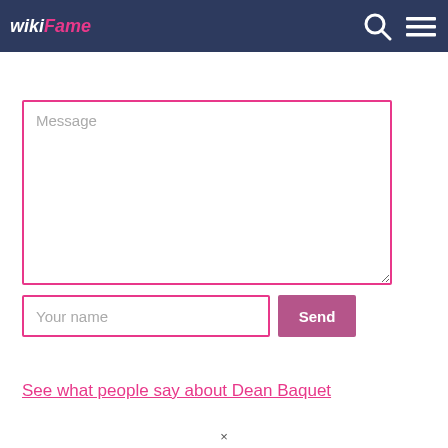wikiFame
[Figure (screenshot): Message textarea with pink border and placeholder text 'Message']
[Figure (screenshot): Your name input field with pink border and Send button]
See what people say about Dean Baquet